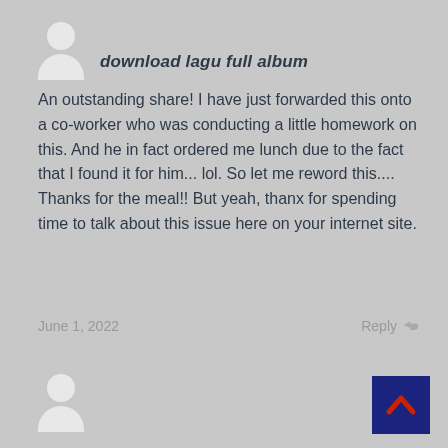[Figure (illustration): Default user avatar icon (white silhouette on grey), top position]
download lagu full album
An outstanding share! I have just forwarded this onto a co-worker who was conducting a little homework on this. And he in fact ordered me lunch due to the fact that I found it for him... lol. So let me reword this.... Thanks for the meal!! But yeah, thanx for spending time to talk about this issue here on your internet site.
June 1, 2022
Reply
[Figure (illustration): Default user avatar icon (white silhouette on grey), bottom position]
[Figure (other): Dark blue scroll-to-top button with red upward chevron arrow]